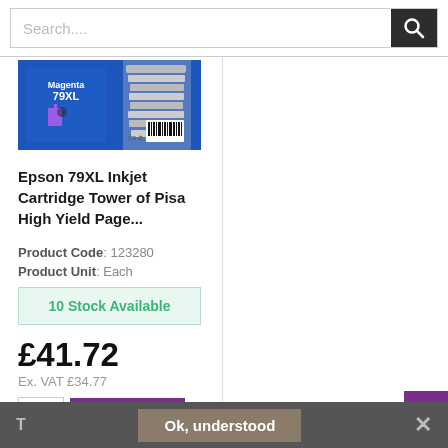[Figure (screenshot): Search bar with magnifying glass icon on dark background]
[Figure (photo): Epson 79XL Magenta ink cartridge product image on blue background with Tower of Pisa graphic]
Epson 79XL Inkjet Cartridge Tower of Pisa High Yield Page...
Product Code: 123280
Product Unit: Each
10 Stock Available
£41.72
Ex. VAT £34.77
Add to Basket
Ok, understood